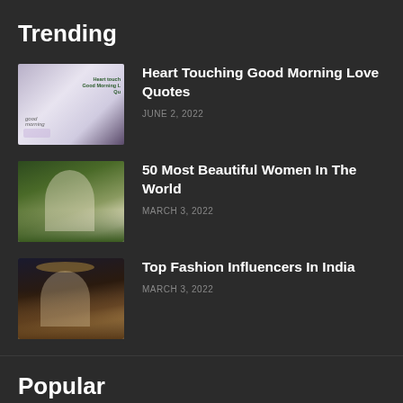Trending
Heart Touching Good Morning Love Quotes — JUNE 2, 2022
50 Most Beautiful Women In The World — MARCH 3, 2022
Top Fashion Influencers In India — MARCH 3, 2022
Popular